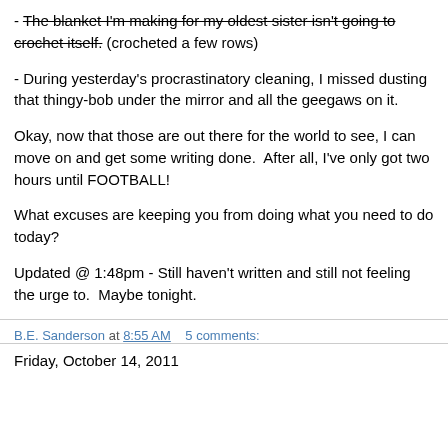- The blanket I'm making for my oldest sister isn't going to crochet itself. (crocheted a few rows)
- During yesterday's procrastinatory cleaning, I missed dusting that thingy-bob under the mirror and all the geegaws on it.
Okay, now that those are out there for the world to see, I can move on and get some writing done.  After all, I've only got two hours until FOOTBALL!
What excuses are keeping you from doing what you need to do today?
Updated @ 1:48pm - Still haven't written and still not feeling the urge to.  Maybe tonight.
B.E. Sanderson at 8:55 AM    5 comments:
Friday, October 14, 2011